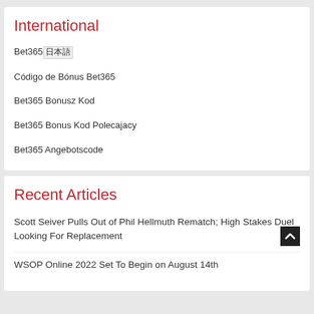International
Bet365日本語ログイン
Código de Bónus Bet365
Bet365 Bonusz Kod
Bet365 Bonus Kod Polecajacy
Bet365 Angebotscode
Recent Articles
Scott Seiver Pulls Out of Phil Hellmuth Rematch; High Stakes Duel Looking For Replacement
WSOP Online 2022 Set To Begin on August 14th